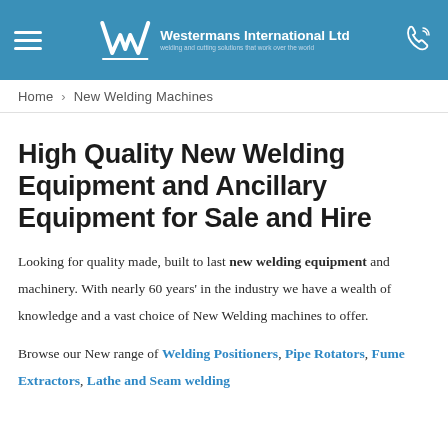Westermans International Ltd – welding and cutting solutions that work over the world
Home › New Welding Machines
High Quality New Welding Equipment and Ancillary Equipment for Sale and Hire
Looking for quality made, built to last new welding equipment and machinery. With nearly 60 years' in the industry we have a wealth of knowledge and a vast choice of New Welding machines to offer.
Browse our New range of Welding Positioners, Pipe Rotators, Fume Extractors, Lathe and Seam welding